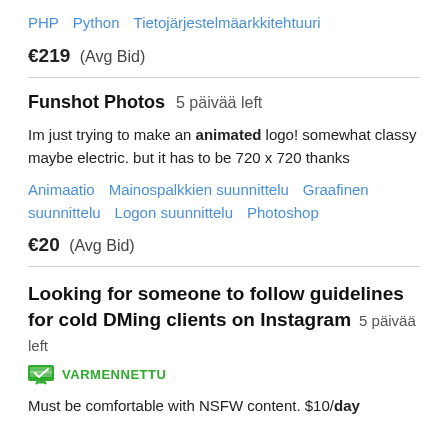PHP   Python   Tietojärjestelmäarkkitehtuuri
€219  (Avg Bid)
Funshot Photos   5 päivää left
Im just trying to make an animated logo! somewhat classy maybe electric. but it has to be 720 x 720 thanks
Animaatio   Mainospalkkien suunnittelu   Graafinen suunnittelu   Logon suunnittelu   Photoshop
€20  (Avg Bid)
Looking for someone to follow guidelines for cold DMing clients on Instagram   5 päivää left
VARMENNETTU
Must be comfortable with NSFW content. $10/day